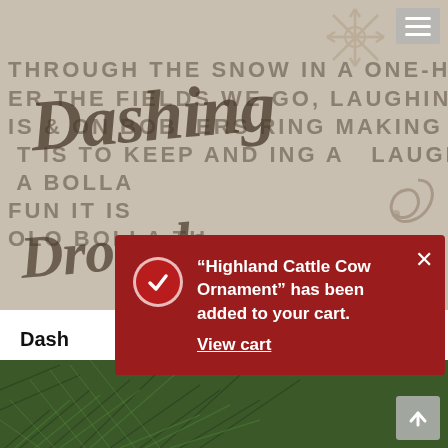[Figure (screenshot): E-commerce product page screenshot showing a wooden 'Dashing' ornament sign with Christmas lyrics text in background. A red cart notification toast overlay reads: '"Highland Cattle Cow Ornament" has been added to your cart. View cart'. Below the product image shows product name starting with 'Dash' and price $35.00. Bottom shows another product image with pine/greenery.]
“Highland Cattle Cow Ornament” has been added to your cart.
View cart
Dash…
$35.00